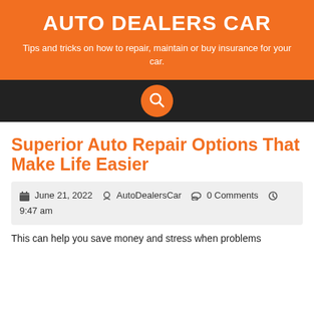AUTO DEALERS CAR
Tips and tricks on how to repair, maintain or buy insurance for your car.
[Figure (other): Dark navigation bar with orange circular search button in the center]
Superior Auto Repair Options That Make Life Easier
June 21, 2022   AutoDealersCar   0 Comments   9:47 am
This can help you save money and stress when problems